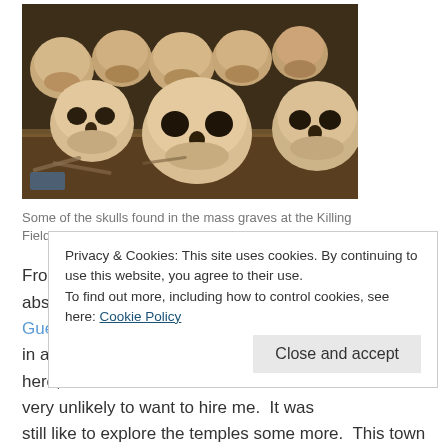[Figure (photo): Photograph of human skulls piled on shelves, found in mass graves at the Killing Fields of Phnom Penh]
Some of the skulls found in the mass graves at the Killing Fields of Phnom Penh
From there we traveled to Siem Reap which I absolutely loved. We stayed at Rosey Guesthouse which was very friendly, well priced, and in a great location.  I applied to the most schools here, none of which were American schools and thus very unlikely to want to hire me.  It was still like to explore the temples some more.  This town has a great
Privacy & Cookies: This site uses cookies. By continuing to use this website, you agree to their use.
To find out more, including how to control cookies, see here: Cookie Policy
Close and accept